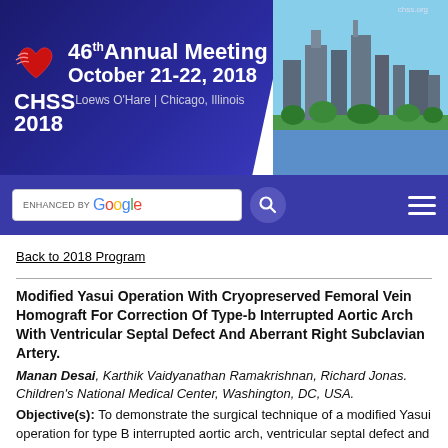[Figure (other): CHSS 2018 46th Annual Meeting banner with logo, date October 21-22 2018, Loews O'Hare Chicago Illinois, and Chicago skyline photo]
[Figure (other): Purple navigation bar with Google search box and hamburger menu icon]
Back to 2018 Program
Modified Yasui Operation With Cryopreserved Femoral Vein Homograft For Correction Of Type-b Interrupted Aortic Arch With Ventricular Septal Defect And Aberrant Right Subclavian Artery.
Manan Desai, Karthik Vaidyanathan Ramakrishnan, Richard Jonas. Children's National Medical Center, Washington, DC, USA.
Objective(s): To demonstrate the surgical technique of a modified Yasui operation for type B interrupted aortic arch, ventricular septal defect and aberrant right subclavian artery with the use of cryopreserved femoral vein homograft.